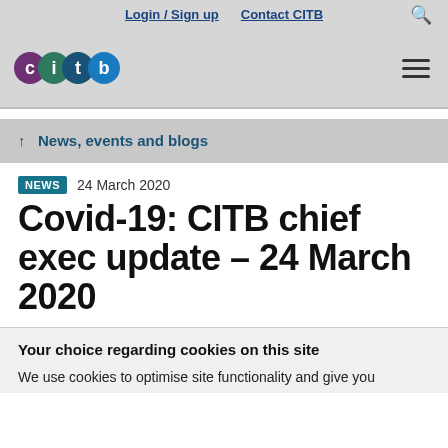Login / Sign up   Contact CITB
[Figure (logo): CITB logo with coloured circles spelling out 'citb']
News, events and blogs
NEWS  24 March 2020
Covid-19: CITB chief exec update – 24 March 2020
Your choice regarding cookies on this site
We use cookies to optimise site functionality and give you